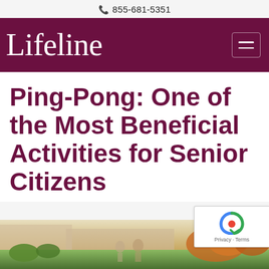855-681-5351
Lifeline
Ping-Pong: One of the Most Beneficial Activities for Senior Citizens
[Figure (photo): Outdoor scene with people and vegetation, partially visible at bottom of page]